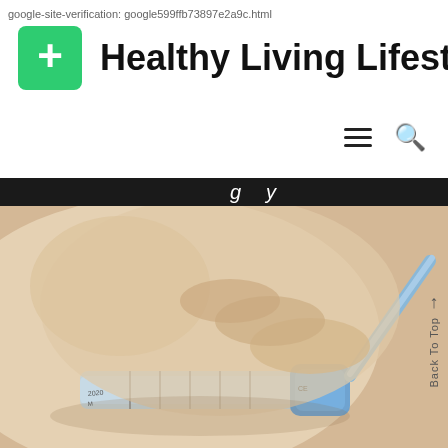google-site-verification: google599ffb73897e2a9c.html
Healthy Living Lifestyle
[Figure (logo): Green rounded square with white plus sign, logo for Healthy Living Lifestyle website]
[Figure (photo): Close-up photo of gloved hands attaching a needle to a syringe, medical/injection context]
Back To Top